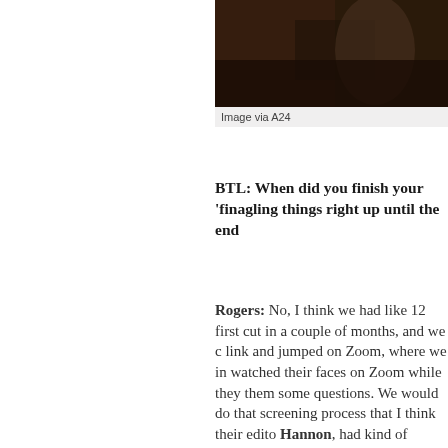[Figure (photo): Dark-toned photograph, partially visible, clipped at top of page]
Image via A24
BTL: When did you finish your 'finagling things right up until the end
Rogers: No, I think we had like 12 first cut in a couple of months, and we c link and jumped on Zoom, where we in watched their faces on Zoom while they them some questions. We would do that screening process that I think their edito Hannon, had kind of passed on to them cut. Every two weeks, you screen where tried to stay as close to that as possible. lot. A couple of months after they wrapp just did screenings and screenings and i just like iteration after iteration, trying n back in, finding the balance, and trying have scenes that worked really well and